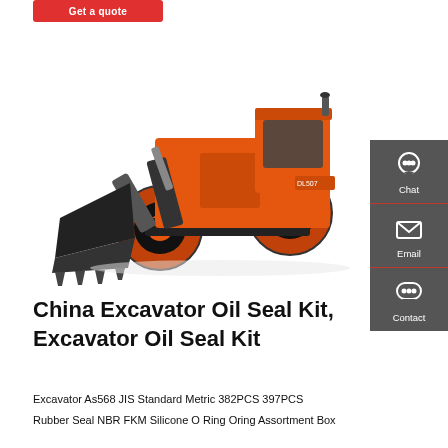[Figure (other): Red 'Get a quote' button at top left]
[Figure (photo): Orange wheeled excavator/front loader machine (DL507 model) facing left on white background]
[Figure (other): Dark grey sidebar with Chat, Email, and Contact icons on the right side]
China Excavator Oil Seal Kit, Excavator Oil Seal Kit
Excavator As568 JIS Standard Metric 382PCS 397PCS
Rubber Seal NBR FKM Silicone O Ring Oring Assortment Box